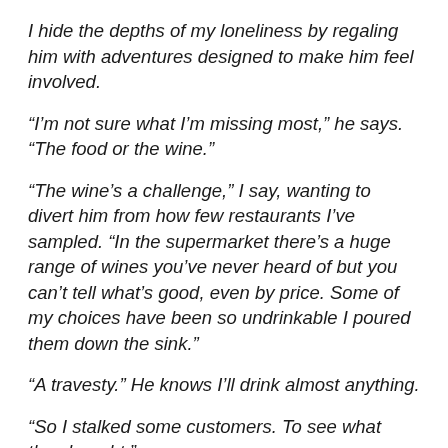I hide the depths of my loneliness by regaling him with adventures designed to make him feel involved.
“I’m not sure what I’m missing most,” he says. “The food or the wine.”
“The wine’s a challenge,” I say, wanting to divert him from how few restaurants I’ve sampled. “In the supermarket there’s a huge range of wines you’ve never heard of but you can’t tell what’s good, even by price. Some of my choices have been so undrinkable I poured them down the sink.”
“A travesty.” He knows I’ll drink almost anything.
“So I stalked some customers. To see what they bought.”
“You didn’t.” He laughs. “See what mischief you get up to